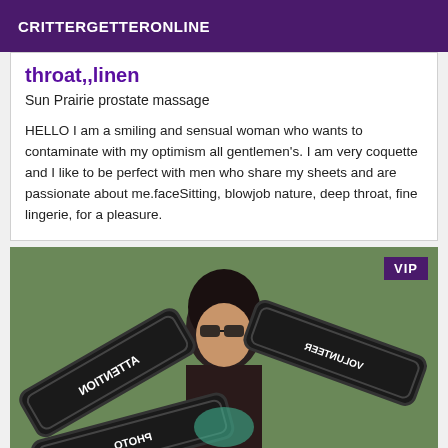CRITTERGETTERONLINE
throat,,linen
Sun Prairie prostate massage
HELLO I am a smiling and sensual woman who wants to contaminate with my optimism all gentlemen's. I am very coquette and I like to be perfect with men who share my sheets and are passionate about me.faceSitting, blowjob nature, deep throat, fine lingerie, for a pleasure.
[Figure (photo): Photo of a woman with dark hair, face partially obscured by watermark signs reading ATTENTION VOLUNTEER PHOTO in mirrored/rotated text. VIP badge in upper right corner.]